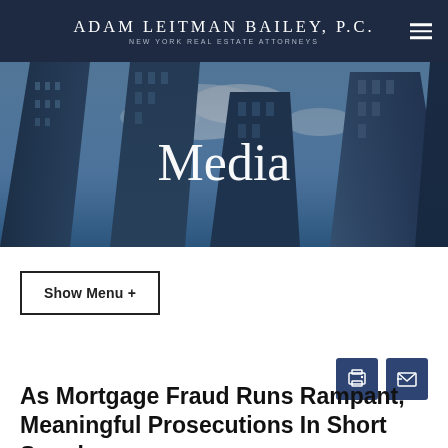ADAM LEITMAN BAILEY, P.C. — NEW YORK REAL ESTATE ATTORNEYS
[Figure (photo): Hero banner with upward view of glass skyscrapers against blue sky with clouds, overlaid with the word 'Media' in white serif text]
Show Menu +
As Mortgage Fraud Runs Rampant, Meaningful Prosecutions In Short Supply